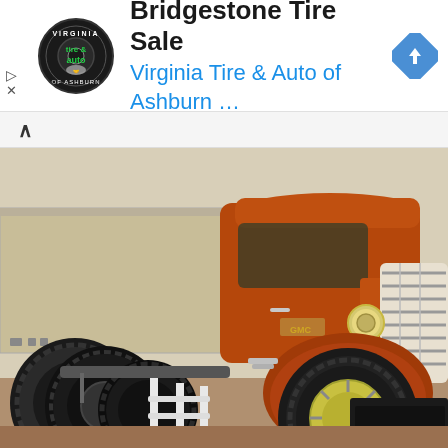[Figure (screenshot): Mobile advertisement banner for Bridgestone Tire Sale at Virginia Tire & Auto of Ashburn. Shows circular Virginia Tire & Auto logo on left, ad title text in center, and blue navigation arrow icon on right. Small play and close icons on far left.]
[Figure (photo): Vintage illustration/photograph of a large orange cab-over semi truck (GMC style), shown from the front-left angle, with large black tires, chrome details, white grille trim, and a beige/tan trailer. Indoor showroom or exhibit setting with white fence/barrier in foreground.]